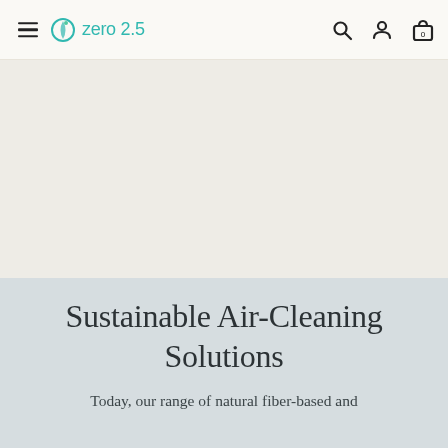zero 2.5 — navigation bar with hamburger menu, logo, search, account, and cart icons
[Figure (photo): Large hero image area with light beige/gray background, content not fully visible]
Sustainable Air-Cleaning Solutions
Today, our range of natural fiber-based and ...